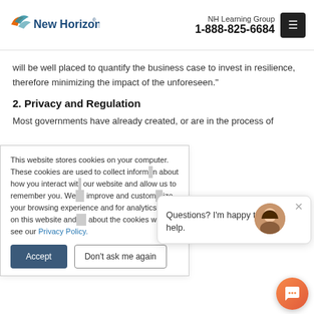New Horizons — NH Learning Group 1-888-825-6684
will be well placed to quantify the business case to invest in resilience, therefore minimizing the impact of the unforeseen."
2. Privacy and Regulation
Most governments have already created, or are in the process of
This website stores cookies on your computer. These cookies are used to collect information about how you interact with our website and allow us to remember you. We use this information in order to improve and customize your browsing experience and for analytics and metrics about our visitors both on this website and other media. To find out more about the cookies we use, see our Privacy Policy.
Questions? I'm happy to help.